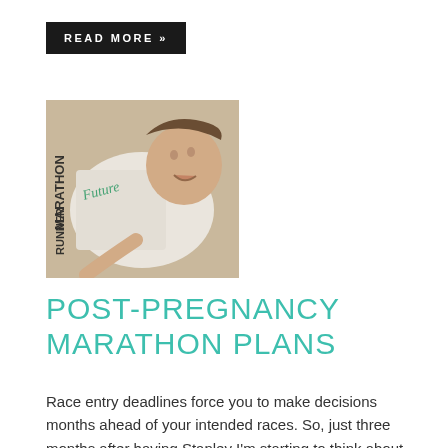READ MORE »
[Figure (photo): Baby lying on floor wearing a white onesie that reads 'Future Marathon Runner']
POST-PREGNANCY MARATHON PLANS
Race entry deadlines force you to make decisions months ahead of your intended races. So, just three months after having Stanley I'm starting to think about post-partum